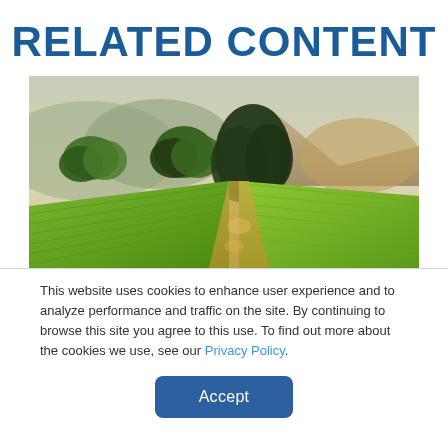RELATED CONTENT
[Figure (photo): Vineyard landscape with rows of grapevines, large trees in the middle ground, and misty mountains in the background under a hazy sky.]
This website uses cookies to enhance user experience and to analyze performance and traffic on the site. By continuing to browse this site you agree to this use. To find out more about the cookies we use, see our Privacy Policy.
Accept